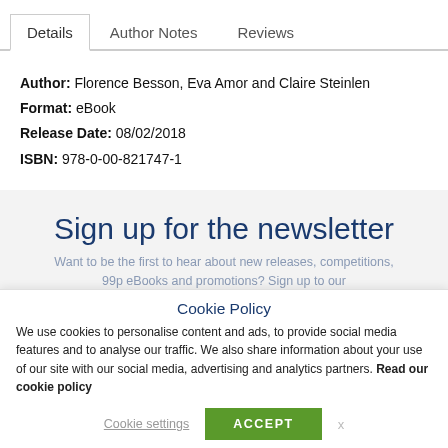Details | Author Notes | Reviews
Author: Florence Besson, Eva Amor and Claire Steinlen
Format: eBook
Release Date: 08/02/2018
ISBN: 978-0-00-821747-1
Sign up for the newsletter
Want to be the first to hear about new releases, competitions, 99p eBooks and promotions? Sign up to our
Cookie Policy
We use cookies to personalise content and ads, to provide social media features and to analyse our traffic. We also share information about your use of our site with our social media, advertising and analytics partners. Read our cookie policy
Cookie settings | ACCEPT | x